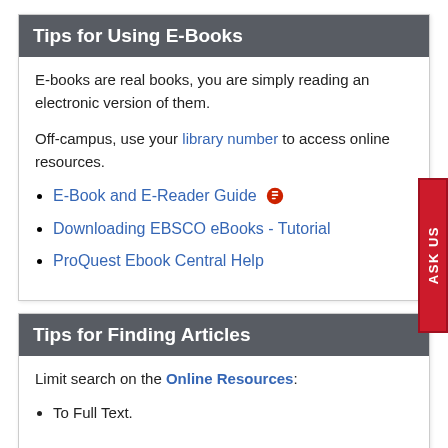Tips for Using E-Books
E-books are real books, you are simply reading an electronic version of them.
Off-campus, use your library number to access online resources.
E-Book and E-Reader Guide
Downloading EBSCO eBooks - Tutorial
ProQuest Ebook Central Help
Tips for Finding Articles
Limit search on the Online Resources:
To Full Text.